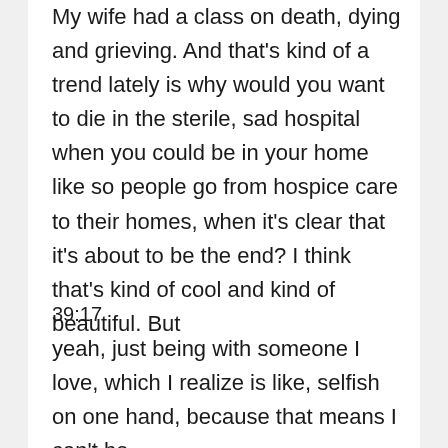My wife had a class on death, dying and grieving. And that's kind of a trend lately is why would you want to die in the sterile, sad hospital when you could be in your home like so people go from hospice care to their homes, when it's clear that it's about to be the end? I think that's kind of cool and kind of beautiful. But
39:17
yeah, just being with someone I love, which I realize is like, selfish on one hand, because that means I can't be